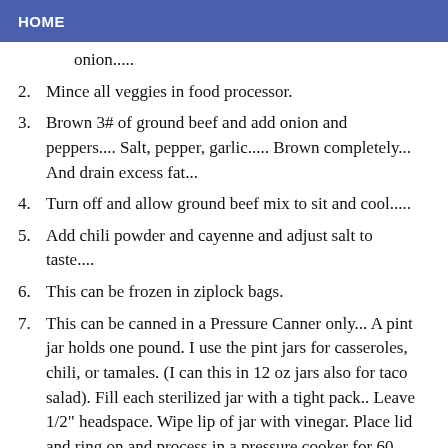HOME
onion.....
Mince all veggies in food processor.
Brown 3# of ground beef and add onion and peppers.... Salt, pepper, garlic..... Brown completely... And drain excess fat...
Turn off and allow ground beef mix to sit and cool.....
Add chili powder and cayenne and adjust salt to taste....
This can be frozen in ziplock bags.
This can be canned in a Pressure Canner only... A pint jar holds one pound. I use the pint jars for casseroles, chili, or tamales. (I can this in 12 oz jars also for taco salad). Fill each sterilized jar with a tight pack.. Leave 1/2" headspace. Wipe lip of jar with vinegar. Place lid and ring on and process in a pressure cooker for 60 minutes (at least, maybe longer).